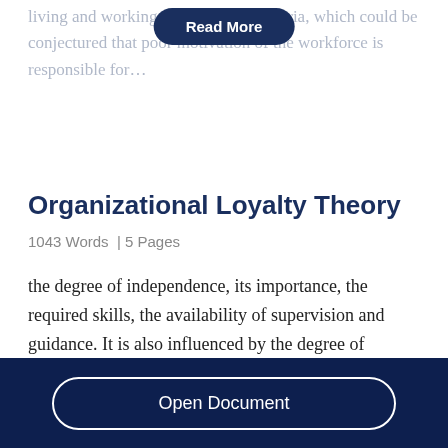living and working conditions in Nigeria, which could be conjectured that poor motivation of the workforce is responsible for…
Organizational Loyalty Theory
1043 Words  | 5 Pages
the degree of independence, its importance, the required skills, the availability of supervision and guidance. It is also influenced by the degree of
Open Document